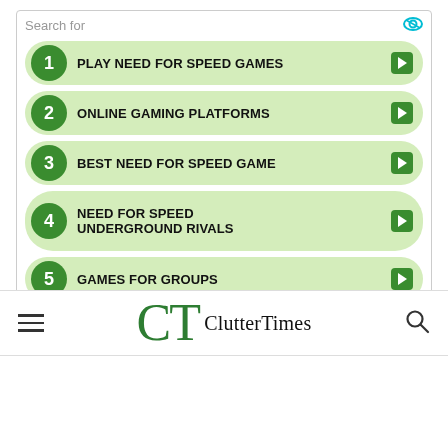Search for
1 PLAY NEED FOR SPEED GAMES
2 ONLINE GAMING PLATFORMS
3 BEST NEED FOR SPEED GAME
4 NEED FOR SPEED UNDERGROUND RIVALS
5 GAMES FOR GROUPS
Yahoo! Search | Sponsored
[Figure (logo): CT ClutterTimes logo with hamburger menu and search icon in a navigation bar]